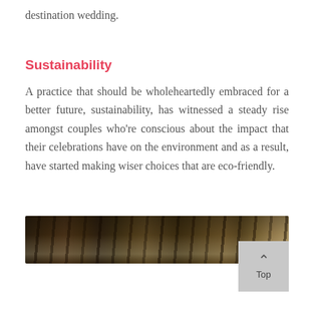destination wedding.
Sustainability
A practice that should be wholeheartedly embraced for a better future, sustainability, has witnessed a steady rise amongst couples who're conscious about the impact that their celebrations have on the environment and as a result, have started making wiser choices that are eco-friendly.
[Figure (photo): A wide panoramic photograph of a forest with tall trees, dimly lit with natural light filtering through the canopy.]